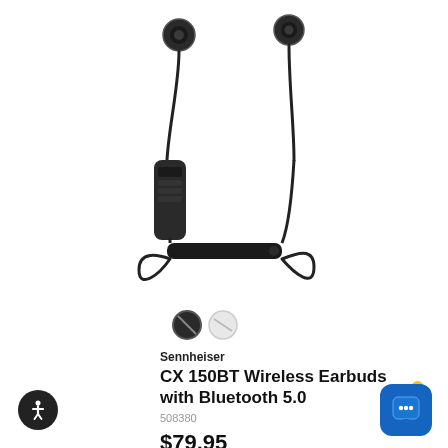[Figure (photo): Sennheiser CX 150BT black wireless Bluetooth earbuds with neckband cable and inline control module, shown from front on white background]
[Figure (other): Two color swatches: black (selected, with dark border) and white/grey (unselected)]
Sennheiser
CX 150BT Wireless Earbuds with Bluetooth 5.0
508380
$79.95